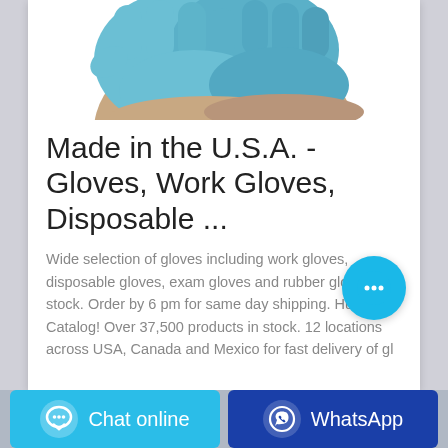[Figure (photo): Photo of hands wearing blue nitrile disposable gloves, cropped at top of card]
Made in the U.S.A. - Gloves, Work Gloves, Disposable ...
Wide selection of gloves including work gloves, disposable gloves, exam gloves and rubber gloves in stock. Order by 6 pm for same day shipping. Huge Catalog! Over 37,500 products in stock. 12 locations across USA, Canada and Mexico for fast delivery of gl
[Figure (illustration): Cyan circular chat bubble button with ellipsis icon in bottom-right of card]
[Figure (illustration): Bottom bar with two buttons: 'Chat online' (cyan) with chat icon, and 'WhatsApp' (dark blue) with WhatsApp icon]